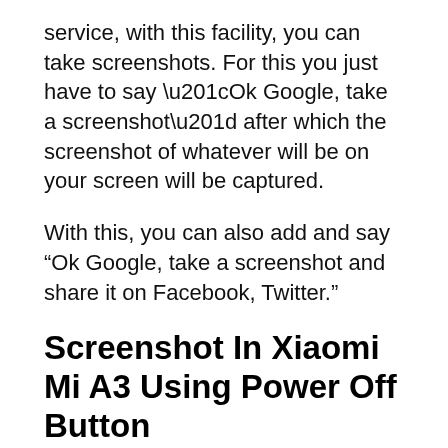service, with this facility, you can take screenshots. For this you just have to say “Ok Google, take a screenshot” after which the screenshot of whatever will be on your screen will be captured.
With this, you can also add and say “Ok Google, take a screenshot and share it on Facebook, Twitter.”
Screenshot In Xiaomi Mi A3 Using Power Off Button
In order to capture a screenshot with Power Off Button, you just have to press and hold the power button for 2 to 3 seconds, you will